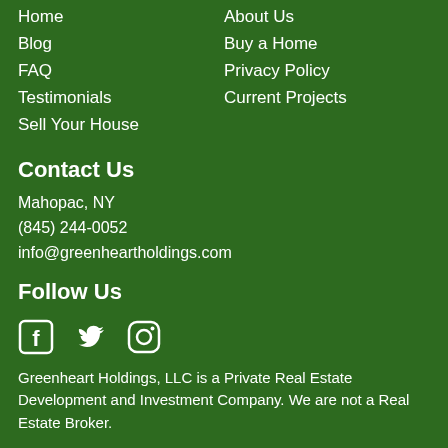Home
Blog
FAQ
Testimonials
Sell Your House
About Us
Buy a Home
Privacy Policy
Current Projects
Contact Us
Mahopac, NY
(845) 244-0052
info@greenheartholdings.com
Follow Us
[Figure (other): Social media icons: Facebook, Twitter, Instagram]
Greenheart Holdings, LLC is a Private Real Estate Development and Investment Company. We are not a Real Estate Broker.